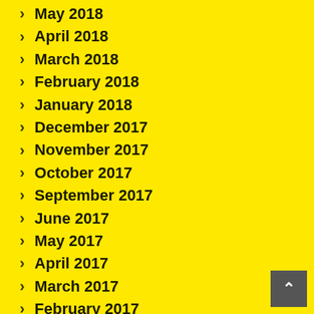May 2018
April 2018
March 2018
February 2018
January 2018
December 2017
November 2017
October 2017
September 2017
June 2017
May 2017
April 2017
March 2017
February 2017
January 2017
December 2016
November 2016